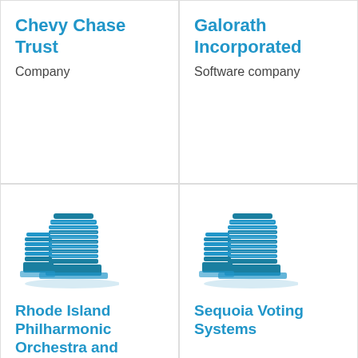Chevy Chase Trust
Company
Galorath Incorporated
Software company
[Figure (illustration): Building/skyscraper icon in blue tones]
Rhode Island Philharmonic Orchestra and Music School
[Figure (illustration): Building/skyscraper icon in blue tones]
Sequoia Voting Systems
[Figure (illustration): Building/skyscraper icon in blue tones (partial, bottom of page)]
[Figure (illustration): Building/skyscraper icon in blue tones (partial, bottom of page)]